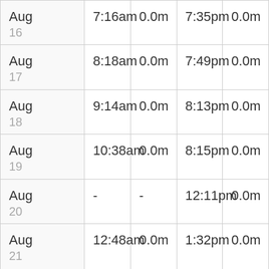| Date | AM Low Time | AM Low Height | PM Low Time | PM Low Height |
| --- | --- | --- | --- | --- |
| Aug 16 | 7:16am | 0.0m | 7:35pm | 0.0m |
| Aug 17 | 8:18am | 0.0m | 7:49pm | 0.0m |
| Aug 18 | 9:14am | 0.0m | 8:13pm | 0.0m |
| Aug 19 | 10:38am | 0.0m | 8:15pm | 0.0m |
| Aug 20 | - | - | 12:11pm | 0.0m |
| Aug 21 | 12:48am | 0.0m | 1:32pm | 0.0m |